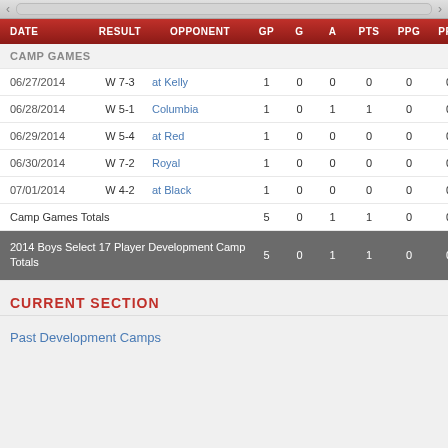| DATE | RESULT | OPPONENT | GP | G | A | PTS | PPG | PPA |
| --- | --- | --- | --- | --- | --- | --- | --- | --- |
| CAMP GAMES |  |  |  |  |  |  |  |  |
| 06/27/2014 | W 7-3 | at Kelly | 1 | 0 | 0 | 0 | 0 | 0 |
| 06/28/2014 | W 5-1 | Columbia | 1 | 0 | 1 | 1 | 0 | 0 |
| 06/29/2014 | W 5-4 | at Red | 1 | 0 | 0 | 0 | 0 | 0 |
| 06/30/2014 | W 7-2 | Royal | 1 | 0 | 0 | 0 | 0 | 0 |
| 07/01/2014 | W 4-2 | at Black | 1 | 0 | 0 | 0 | 0 | 0 |
| Camp Games Totals |  |  | 5 | 0 | 1 | 1 | 0 | 0 |
| 2014 Boys Select 17 Player Development Camp Totals |  |  | 5 | 0 | 1 | 1 | 0 | 0 |
CURRENT SECTION
Past Development Camps